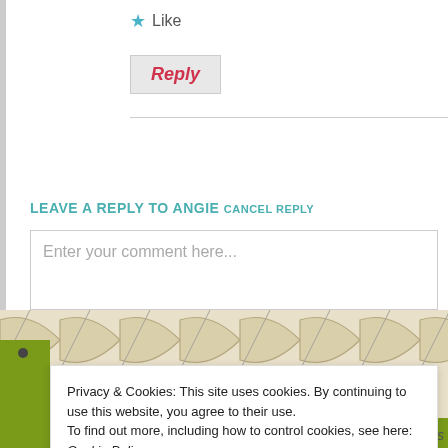★ Like
Reply
LEAVE A REPLY TO ANGIE CANCEL REPLY
Enter your comment here...
Privacy & Cookies: This site uses cookies. By continuing to use this website, you agree to their use.
To find out more, including how to control cookies, see here: Cookie Policy
Close and accept
Powered by WordPress.com